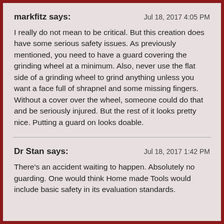markfitz says:   Jul 18, 2017 4:05 PM
I really do not mean to be critical. But this creation does have some serious safety issues. As previously mentioned, you need to have a guard covering the grinding wheel at a minimum. Also, never use the flat side of a grinding wheel to grind anything unless you want a face full of shrapnel and some missing fingers. Without a cover over the wheel, someone could do that and be seriously injured. But the rest of it looks pretty nice. Putting a guard on looks doable.
Dr Stan says:   Jul 18, 2017 1:42 PM
There's an accident waiting to happen. Absolutely no guarding. One would think Home made Tools would include basic safety in its evaluation standards.